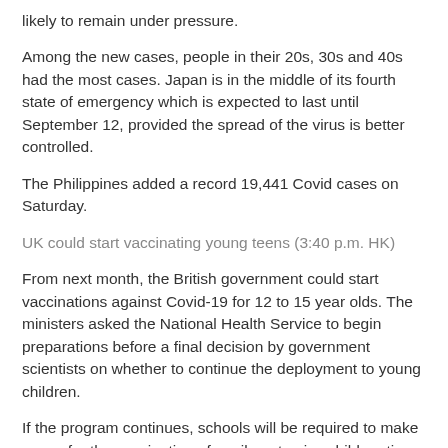likely to remain under pressure.
Among the new cases, people in their 20s, 30s and 40s had the most cases. Japan is in the middle of its fourth state of emergency which is expected to last until September 12, provided the spread of the virus is better controlled.
The Philippines added a record 19,441 Covid cases on Saturday.
UK could start vaccinating young teens (3:40 p.m. HK)
From next month, the British government could start vaccinations against Covid-19 for 12 to 15 year olds. The ministers asked the National Health Service to begin preparations before a final decision by government scientists on whether to continue the deployment to young children.
If the program continues, schools will be required to make space for the vaccination of pupils or to give children time to withdraw from class to visit vaccination sites. These 16 and 17 years old are already eligible to receive a vaccine against the Covid. “Throughout the pandemic, the government has planned ahead so that we can respond to changing circumstances,” said Sajid